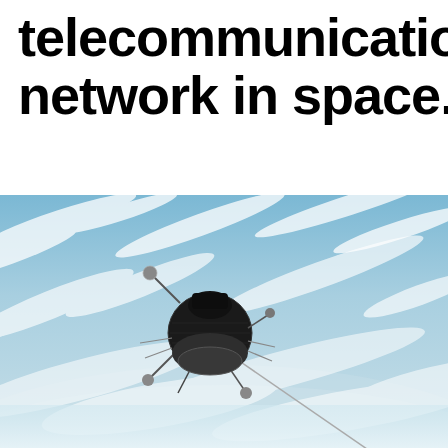telecommunications network in space.
[Figure (photo): A spacecraft (resembling a Soyuz or Progress capsule) floating in orbit above Earth, with blue sky and white clouds visible below. The spacecraft has a cylindrical/spherical body, solar panel antennas, and a long protruding antenna rod.]